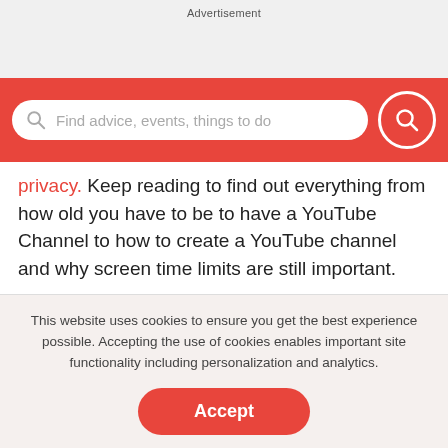Advertisement
[Figure (screenshot): Red search bar with white rounded input box containing a search icon and placeholder text 'Find advice, events, things to do', and a red circular search button on the right]
privacy. Keep reading to find out everything from how old you have to be to have a YouTube Channel to how to create a YouTube channel and why screen time limits are still important.
This website uses cookies to ensure you get the best experience possible. Accepting the use of cookies enables important site functionality including personalization and analytics.
Accept
Decline